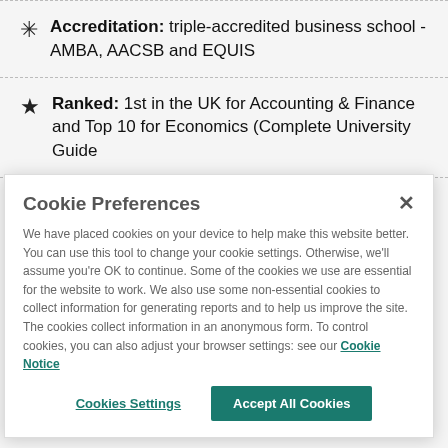Accreditation: triple-accredited business school - AMBA, AACSB and EQUIS
Ranked: 1st in the UK for Accounting & Finance and Top 10 for Economics (Complete University Guide
Cookie Preferences
We have placed cookies on your device to help make this website better. You can use this tool to change your cookie settings. Otherwise, we'll assume you're OK to continue. Some of the cookies we use are essential for the website to work. We also use some non-essential cookies to collect information for generating reports and to help us improve the site. The cookies collect information in an anonymous form. To control cookies, you can also adjust your browser settings: see our Cookie Notice
Cookies Settings
Accept All Cookies